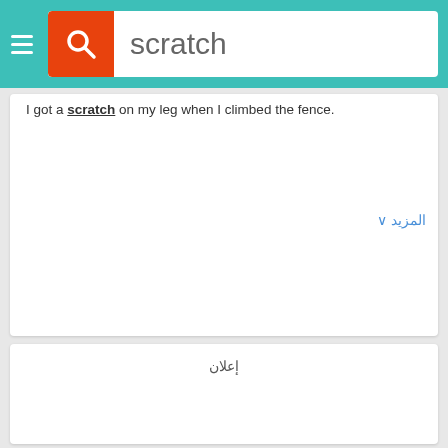[Figure (screenshot): Mobile app search bar with teal header, hamburger menu, orange search icon button, and search term 'scratch' in gray text]
I got a scratch on my leg when I climbed the fence.
المزيد ∨
إعلان